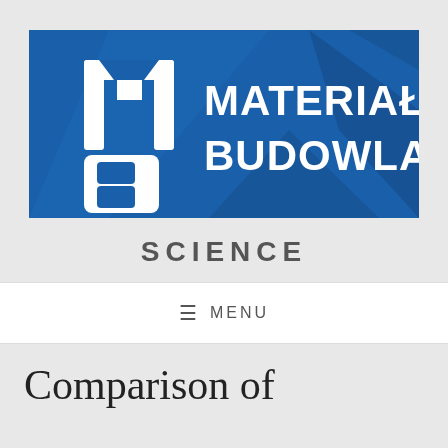[Figure (logo): Materiały Budowlane journal logo — white stylized letters M and B on a blue geometric background with text MATERIAŁY BUDOWLANE]
SCIENCE
≡ MENU
Comparison of